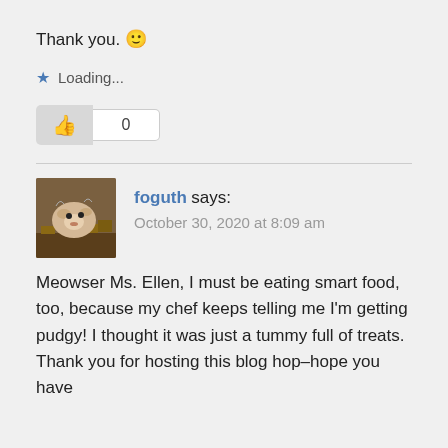Thank you. 🙂
Loading...
0
foguth says:
October 30, 2020 at 8:09 am
Meowser Ms. Ellen, I must be eating smart food, too, because my chef keeps telling me I'm getting pudgy! I thought it was just a tummy full of treats. Thank you for hosting this blog hop–hope you have